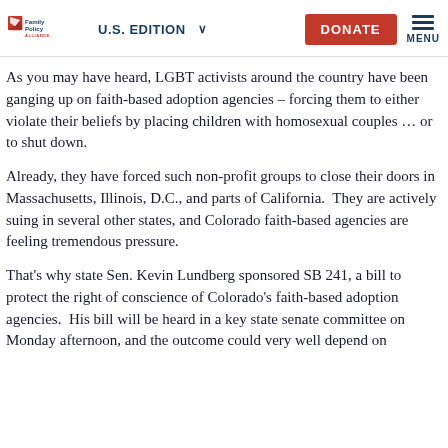Family Policy Alliance — U.S. EDITION — DONATE — MENU
As you may have heard, LGBT activists around the country have been ganging up on faith-based adoption agencies – forcing them to either violate their beliefs by placing children with homosexual couples … or to shut down.
Already, they have forced such non-profit groups to close their doors in Massachusetts, Illinois, D.C., and parts of California.  They are actively suing in several other states, and Colorado faith-based agencies are feeling tremendous pressure.
That's why state Sen. Kevin Lundberg sponsored SB 241, a bill to protect the right of conscience of Colorado's faith-based adoption agencies.  His bill will be heard in a key state senate committee on Monday afternoon, and the outcome could very well depend on